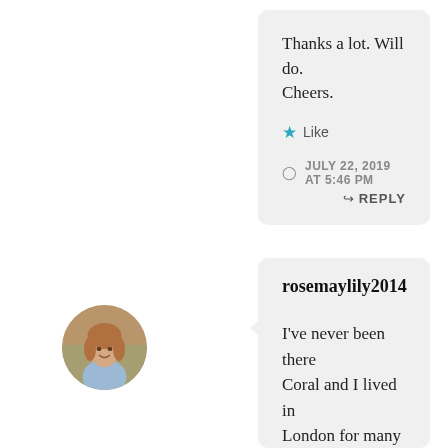Thanks a lot. Will do. Cheers.
Like
JULY 22, 2019 AT 5:46 PM
REPLY
[Figure (photo): Circular avatar photo of a woman with light brown/red hair, wearing a blue or light-colored top, seated indoors with greenery in background]
rosemaylily2014
I've never been there Coral and I lived in London for many years!